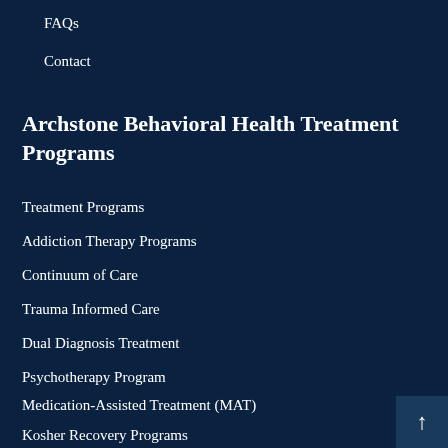FAQs
Contact
Archstone Behavioral Health Treatment Programs
Treatment Programs
Addiction Therapy Programs
Continuum of Care
Trauma Informed Care
Dual Diagnosis Treatment
Psychotherapy Program
Medication-Assisted Treatment (MAT)
Kosher Recovery Programs